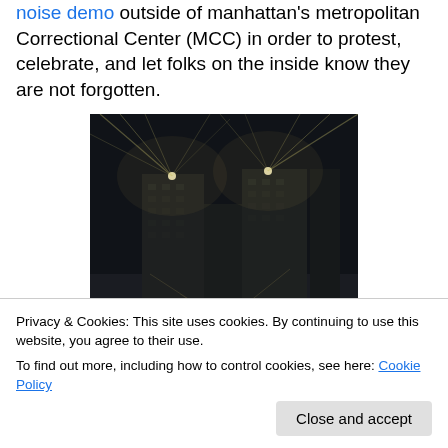noise demo outside of manhattan's metropolitan Correctional Center (MCC) in order to protest, celebrate, and let folks on the inside know they are not forgotten.
[Figure (photo): Night photograph of a large multi-story building (Manhattan Metropolitan Correctional Center) illuminated by bright security lights with light rays spreading out from rooftop fixtures, captured from street level looking up.]
Privacy & Cookies: This site uses cookies. By continuing to use this website, you agree to their use.
To find out more, including how to control cookies, see here: Cookie Policy
Close and accept